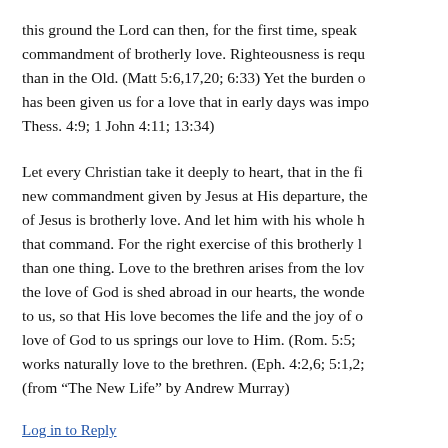this ground the Lord can then, for the first time, speak commandment of brotherly love. Righteousness is requ than in the Old. (Matt 5:6,17,20; 6:33) Yet the burden has been given us for a love that in early days was imp Thess. 4:9; 1 John 4:11; 13:34)
Let every Christian take it deeply to heart, that in the fi new commandment given by Jesus at His departure, th of Jesus is brotherly love. And let him with his whole h that command. For the right exercise of this brotherly l than one thing. Love to the brethren arises from the lo the love of God is shed abroad in our hearts, the wond to us, so that His love becomes the life and the joy of o love of God to us springs our love to Him. (Rom. 5:5; works naturally love to the brethren. (Eph. 4:2,6; 5:1,2 (from “The New Life” by Andrew Murray)
Log in to Reply